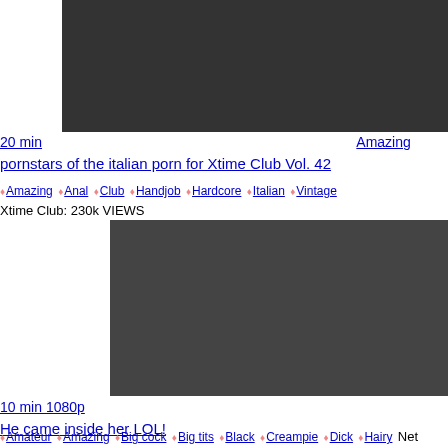[Figure (photo): Video thumbnail showing adult content, first video]
20 min   Amazing pornstars of the italian porn for Xtime Club Vol. 42
Amazing Anal Club Handjob Hardcore Italian Vintage Xtime Club: 230k VIEWS
[Figure (photo): Video thumbnail showing adult content, second video, castingcouch-HD.com watermark]
10 min 1080p  He came inside her LOL!
Amateur Amazing Big cock Big tits Black Creampie Dick Hairy Net Video Girls: 24M VIEWS
[Figure (photo): Video thumbnail showing adult content, third video (partially visible)]